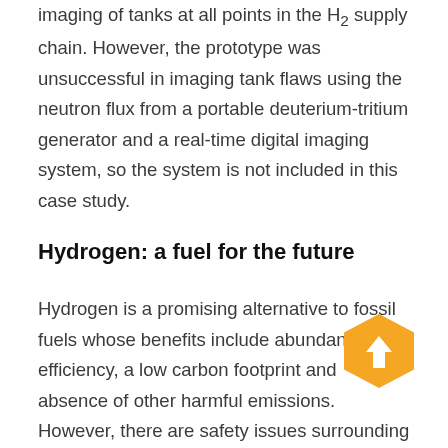imaging of tanks at all points in the H₂ supply chain. However, the prototype was unsuccessful in imaging tank flaws using the neutron flux from a portable deuterium-tritium generator and a real-time digital imaging system, so the system is not included in this case study.
Hydrogen: a fuel for the future
Hydrogen is a promising alternative to fossil fuels whose benefits include abundance, efficiency, a low carbon footprint and absence of other harmful emissions. However, there are safety issues surrounding its use, especially when stored at the high